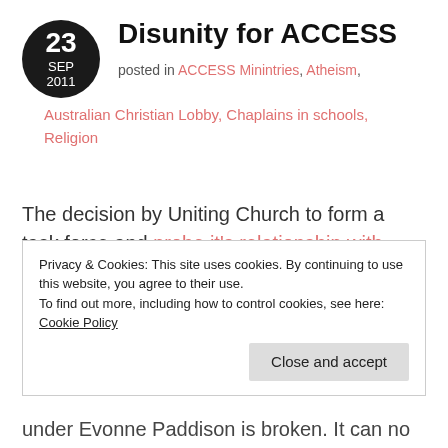Disunity for ACCESS
posted in ACCESS Minintries, Atheism, Australian Christian Lobby, Chaplains in schools, Religion
The decision by Uniting Church to form a task force and probe it's relationship with ACCESS ministries, in addition to how best to teach Christian education is welcome news. As
Privacy & Cookies: This site uses cookies. By continuing to use this website, you agree to their use.
To find out more, including how to control cookies, see here:
Cookie Policy
under Evonne Paddison is broken. It can no